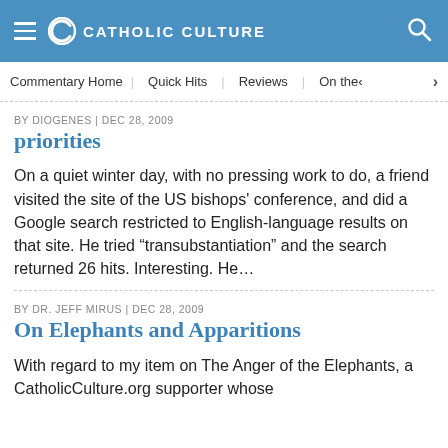CATHOLIC CULTURE
Commentary Home | Quick Hits | Reviews | On the (
BY DIOGENES | DEC 28, 2009
priorities
On a quiet winter day, with no pressing work to do, a friend visited the site of the US bishops' conference, and did a Google search restricted to English-language results on that site. He tried “transubstantiation” and the search returned 26 hits. Interesting. He…
BY DR. JEFF MIRUS | DEC 28, 2009
On Elephants and Apparitions
With regard to my item on The Anger of the Elephants, a CatholicCulture.org supporter whose